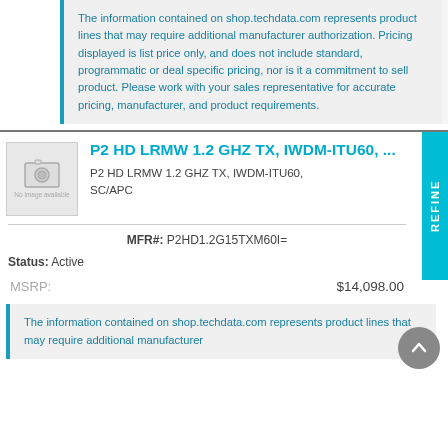The information contained on shop.techdata.com represents product lines that may require additional manufacturer authorization. Pricing displayed is list price only, and does not include standard, programmatic or deal specific pricing, nor is it a commitment to sell product. Please work with your sales representative for accurate pricing, manufacturer, and product requirements.
P2 HD LRMW 1.2 GHZ TX, IWDM-ITU60, ...
P2 HD LRMW 1.2 GHZ TX, IWDM-ITU60, SC/APC
MFR#: P2HD1.2G15TXM60I=
Status: Active
MSRP: $14,098.00
The information contained on shop.techdata.com represents product lines that may require additional manufacturer...